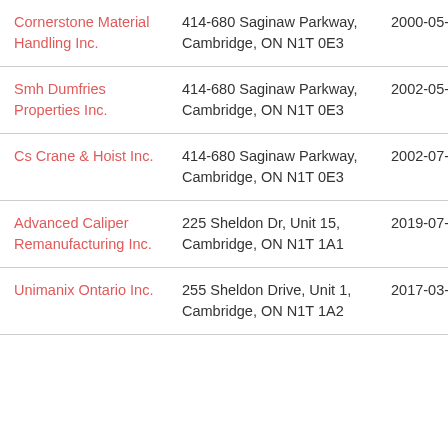| Cornerstone Material Handling Inc. | 414-680 Saginaw Parkway, Cambridge, ON N1T 0E3 | 2000-05-09 |
| Smh Dumfries Properties Inc. | 414-680 Saginaw Parkway, Cambridge, ON N1T 0E3 | 2002-05-28 |
| Cs Crane & Hoist Inc. | 414-680 Saginaw Parkway, Cambridge, ON N1T 0E3 | 2002-07-17 |
| Advanced Caliper Remanufacturing Inc. | 225 Sheldon Dr, Unit 15, Cambridge, ON N1T 1A1 | 2019-07-17 |
| Unimanix Ontario Inc. | 255 Sheldon Drive, Unit 1, Cambridge, ON N1T 1A2 | 2017-03-28 |